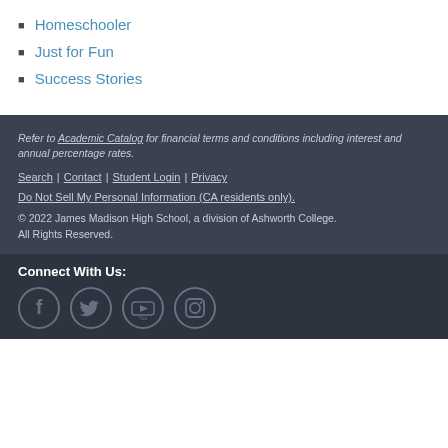Homeschooler
Just for Fun
Success Stories
Refer to Academic Catalog for financial terms and conditions including interest and annual percentage rates.
Search | Contact | Student Login | Privacy
Do Not Sell My Personal Information (CA residents only).
© 2022 James Madison High School, a division of Ashworth College. All Rights Reserved.
Connect With Us:
[Figure (other): Social media icons: Facebook, Twitter, YouTube, Instagram]